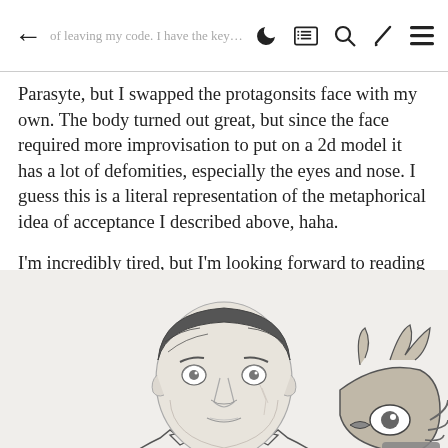← of leaving my code. I have the key after all.   🌙 📰 🔍 🖌 ☰
Parasyte, but I swapped the protagonsits face with my own. The body turned out great, but since the face required more improvisation to put on a 2d model it has a lot of defomities, especially the eyes and nose. I guess this is a literal representation of the metaphorical idea of acceptance I described above, haha.
I'm incredibly tired, but I'm looking forward to reading and posting in other journals tomorrow.
[Figure (illustration): Pencil sketch drawing of a young man with dark hair wearing a suit and tie. To his right is a creature that appears to be from the anime Parasyte, with tentacle-like appendages and a visible eye. The drawing is hand-drawn in pencil on white paper.]